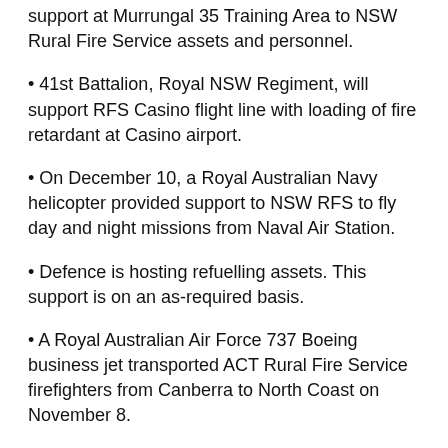support at Murrungal 35 Training Area to NSW Rural Fire Service assets and personnel.
41st Battalion, Royal NSW Regiment, will support RFS Casino flight line with loading of fire retardant at Casino airport.
On December 10, a Royal Australian Navy helicopter provided support to NSW RFS to fly day and night missions from Naval Air Station.
Defence is hosting refuelling assets. This support is on an as-required basis.
A Royal Australian Air Force 737 Boeing business jet transported ACT Rural Fire Service firefighters from Canberra to North Coast on November 8.
A Royal Australian Air Force C-130 J Hercules aircraft